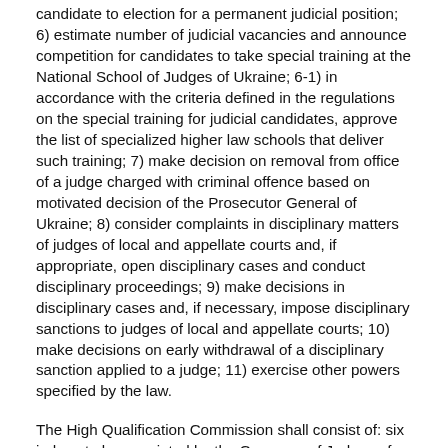candidate to election for a permanent judicial position; 6) estimate number of judicial vacancies and announce competition for candidates to take special training at the National School of Judges of Ukraine; 6-1) in accordance with the criteria defined in the regulations on the special training for judicial candidates, approve the list of specialized higher law schools that deliver such training; 7) make decision on removal from office of a judge charged with criminal offence based on motivated decision of the Prosecutor General of Ukraine; 8) consider complaints in disciplinary matters of judges of local and appellate courts and, if appropriate, open disciplinary cases and conduct disciplinary proceedings; 9) make decisions in disciplinary cases and, if necessary, impose disciplinary sanctions to judges of local and appellate courts; 10) make decisions on early withdrawal of a disciplinary sanction applied to a judge; 11) exercise other powers specified by the law.
The High Qualification Commission shall consist of: six judges to be appointed by the Congress of Judges of Ukraine; two persons appointed by congress of representatives of higher law schools and scientific institutions; one person to be appointed by the Minister of Justice of Ukraine; one person to be appointed by the Ombudsman of the Verkhovna Rada of Ukraine; one person to be appointed by the Head of State Judicial Administration of Ukraine. The members of the High Qualification Commission of Judges of the judicial...